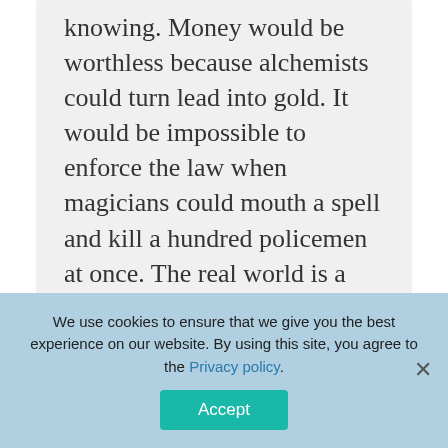knowing. Money would be worthless because alchemists could turn lead into gold. It would be impossible to enforce the law when magicians could mouth a spell and kill a hundred policemen at once. The real world is a much happier place without magic, but we can enjoy playing What if? in our imaginations.
Why was Roran unable to learn
We use cookies to ensure that we give you the best experience on our website. By using this site, you agree to the Privacy policy.